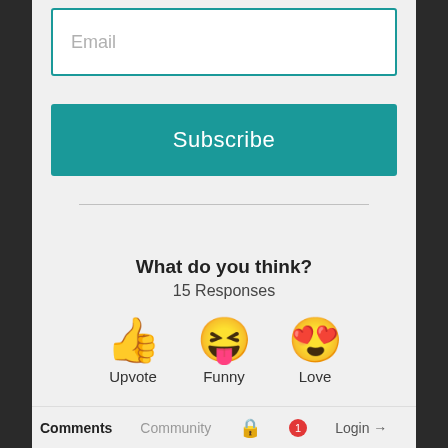[Figure (screenshot): Email input field with teal border and placeholder text 'Email']
[Figure (screenshot): Teal 'Subscribe' button]
[Figure (screenshot): Horizontal divider line]
What do you think?
15 Responses
[Figure (infographic): Three emoji reaction options: thumbs up (Upvote), laughing face (Funny), and heart eyes (Love)]
Comments   Community   [lock icon]   [1 notification]   Login →